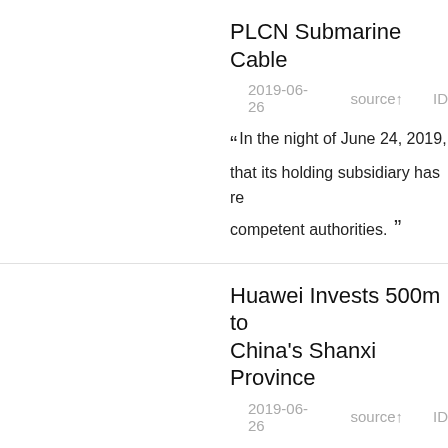PLCN Submarine Cable
2019-06-26    source↑    ID
“ In the night of June 24, 2019, that its holding subsidiary has re competent authorities. ”
Huawei Invests 500m to China's Shanxi Province
2019-06-26    source↑    ID
“ Huawei invests 500 million yu its key intelligenct city project in